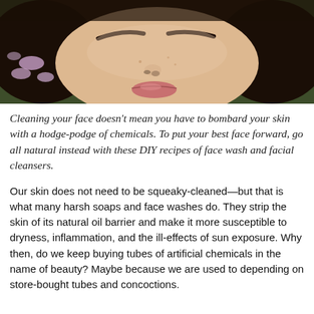[Figure (photo): Close-up photo of a young woman's face lying among purple flowers and green foliage, with dark eyebrows, light freckles, and pink lips.]
Cleaning your face doesn't mean you have to bombard your skin with a hodge-podge of chemicals. To put your best face forward, go all natural instead with these DIY recipes of face wash and facial cleansers.
Our skin does not need to be squeaky-cleaned—but that is what many harsh soaps and face washes do. They strip the skin of its natural oil barrier and make it more susceptible to dryness, inflammation, and the ill-effects of sun exposure. Why then, do we keep buying tubes of artificial chemicals in the name of beauty? Maybe because we are used to depending on store-bought tubes and concoctions.